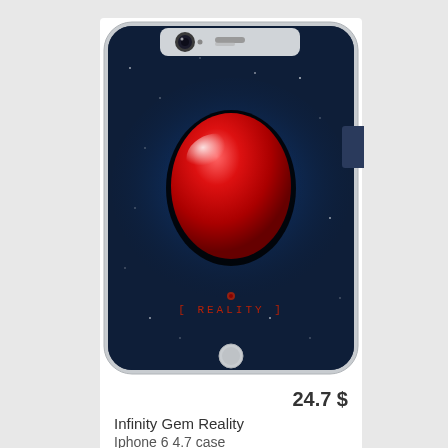[Figure (photo): iPhone 6 phone case with dark navy blue background and a large red glossy oval gem/stone in the center with blue glow effect. Text at the bottom reads '[ REALITY ]' in red pixel-style font. The case has rounded corners and visible camera cutout at top.]
24.7 $
Infinity Gem Reality
Iphone 6 4.7 case